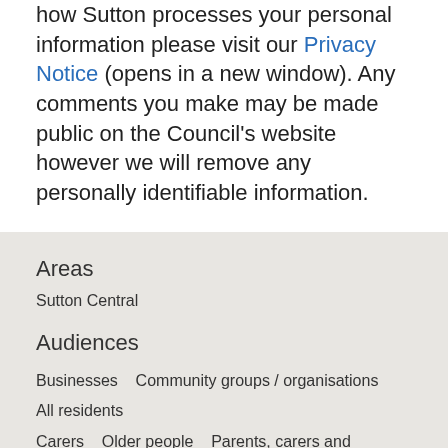how Sutton processes your personal information please visit our Privacy Notice (opens in a new window). Any comments you make may be made public on the Council's website however we will remove any personally identifiable information.
Areas
Sutton Central
Audiences
Businesses   Community groups / organisations   All residents   Carers   Older people   Parents, carers and guardians   People with disabilities   Service users   Stakeholders